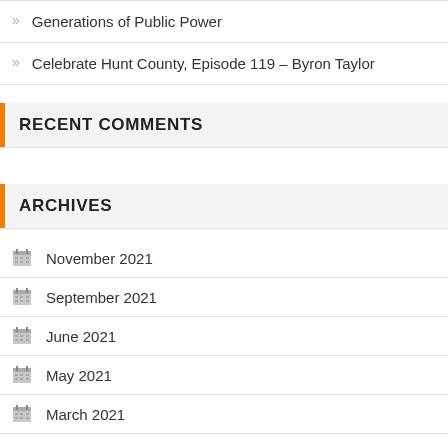» Generations of Public Power
» Celebrate Hunt County, Episode 119 – Byron Taylor
RECENT COMMENTS
ARCHIVES
November 2021
September 2021
June 2021
May 2021
March 2021